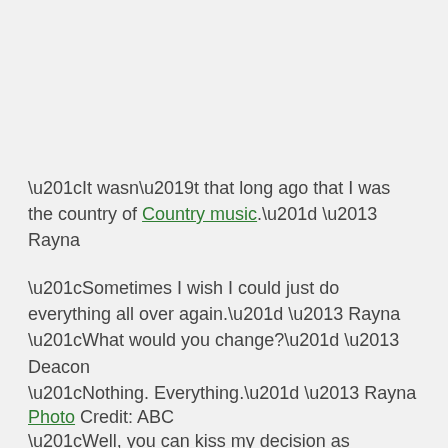“It wasn’t that long ago that I was the country of Country music.” – Rayna
“Sometimes I wish I could just do everything all over again.” – Rayna
“What would you change?” – Deacon
“Nothing. Everything.” – Rayna
“Well, you can kiss my decision as it’s walking out the door.” – Rayna
Photo Credit: ABC